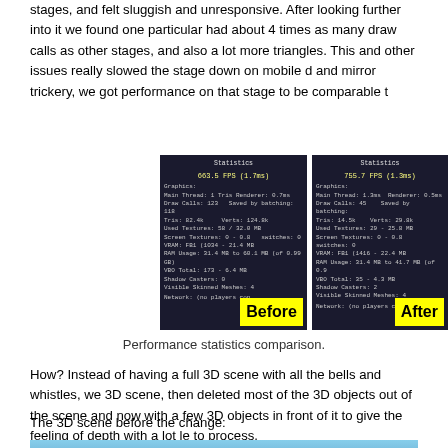stages, and felt sluggish and unresponsive. After looking further into it we found one particular had about 4 times as many draw calls as other stages, and also a lot more triangles. This and other issues really slowed the stage down on mobile devices, but with some lod and mirror trickery, we got performance on that stage to be comparable to the others.
[Figure (screenshot): Two side-by-side screenshots of game performance statistics overlays labeled 'Before' and 'After' with yellow labels. Before shows 663.5 FPS (1.7ms), After shows 755.7 FPS (1.3ms).]
Performance statistics comparison.
How? Instead of having a full 3D scene with all the bells and whistles, we kept the 3D scene, then deleted most of the 3D objects out of the scene and now use a skybox with a few 3D objects in front of it to give the feeling of depth with a lot less geometry to process.
The 3D scene before the change:
[Figure (photo): A photograph of a 3D scene showing trees against a blue sky, taken before an optimization change. There is a black area on the left side of the image.]